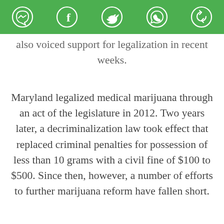[Figure (other): Green social media sharing bar with icons: Messenger, Facebook, Twitter, WhatsApp, and another share icon]
also voiced support for legalization in recent weeks.
Maryland legalized medical marijuana through an act of the legislature in 2012. Two years later, a decriminalization law took effect that replaced criminal penalties for possession of less than 10 grams with a civil fine of $100 to $500. Since then, however, a number of efforts to further marijuana reform have fallen short.
[Figure (screenshot): Infolinks advertisement banner for Women's Fashion | Shop Online | VENUS showing a thumbnail image, ad title, description 'Shop the best in women's fashion, clothing, swimwear', URL 'venus.com', close button, and navigation arrow]